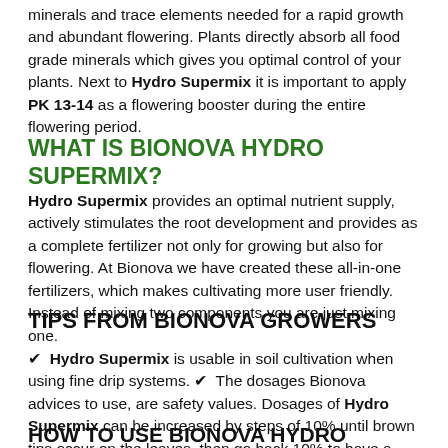minerals and trace elements needed for a rapid growth and abundant flowering. Plants directly absorb all food grade minerals which gives you optimal control of your plants. Next to Hydro Supermix it is important to apply PK 13-14 as a flowering booster during the entire flowering period.
WHAT IS BIONOVA HYDRO SUPERMIX?
Hydro Supermix provides an optimal nutrient supply, actively stimulates the root development and provides as a complete fertilizer not only for growing but also for flowering. At Bionova we have created these all-in-one fertilizers, which makes cultivating more user friendly. Instead of mixing two components you are just mixing one.
TIPS FROM BIONOVA GROWERS
✔ Hydro Supermix is usable in soil cultivation when using fine drip systems. ✔ The dosages Bionova advices to use, are safety values. Dosages of Hydro Supermix can be increased by steps of 10% until brown tips occur on the leaves, then go back 10% to have a perfect dosage for your specific genetic.
HOW TO USE BIONOVA HYDRO